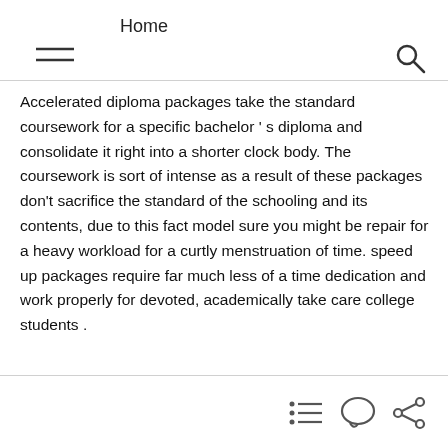Home
Accelerated diploma packages take the standard coursework for a specific bachelor ' s diploma and consolidate it right into a shorter clock body. The coursework is sort of intense as a result of these packages don't sacrifice the standard of the schooling and its contents, due to this fact model sure you might be repair for a heavy workload for a curtly menstruation of time. speed up packages require far much less of a time dedication and work properly for devoted, academically take care college students .